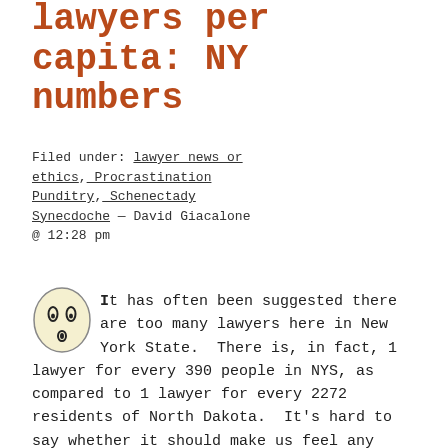lawyers per capita: NY numbers
Filed under: lawyer news or ethics, Procrastination Punditry, Schenectady Synecdoche — David Giacalone @ 12:28 pm
[Figure (illustration): A small cartoon smiley face with a surprised/shocked expression — wide open oval eyes and small round mouth, outlined in dark ink on a cream/yellow background, circular shape.]
It has often been suggested there are too many lawyers here in New York State.  There is, in fact, 1 lawyer for every 390 people in NYS, as compared to 1 lawyer for every 2272 residents of North Dakota.  It's hard to say whether it should make us feel any better to know, on the other hand, that Washington, D.C. has 13.5 times as many